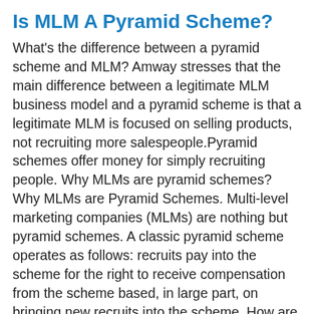Is MLM A Pyramid Scheme?
What's the difference between a pyramid scheme and MLM? Amway stresses that the main difference between a legitimate MLM business model and a pyramid scheme is that a legitimate MLM is focused on selling products, not recruiting more salespeople.Pyramid schemes offer money for simply recruiting people. Why MLMs are pyramid schemes? Why MLMs are Pyramid Schemes. Multi-level marketing companies (MLMs) are nothing but pyramid schemes. A classic pyramid scheme operates as follows: recruits pay into the scheme for the right to receive compensation from the scheme based, in large part, on bringing new recruits into the scheme. How are MLMs not pyramid schemes? Commissions are paid on sale of products and not on enrolments; MLM has a hierarchical commission set up